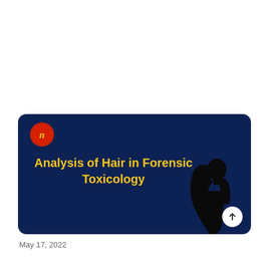[Figure (illustration): Book/article cover card with dark navy background, red wax seal logo with cursive 'n' in top-left, bold yellow title text 'Analysis of Hair in Forensic Toxicology' centered, black silhouette of a person with flowing hair on the right side, and a white circular up-arrow button at bottom-right.]
May 17, 2022